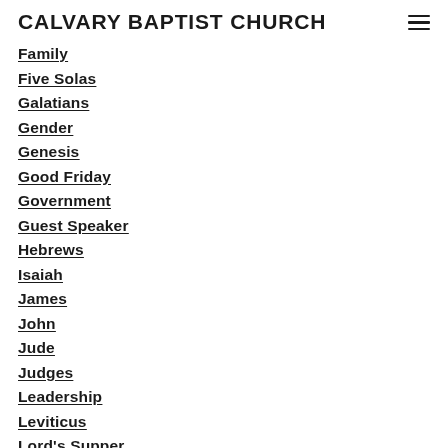CALVARY BAPTIST CHURCH
Family
Five Solas
Galatians
Gender
Genesis
Good Friday
Government
Guest Speaker
Hebrews
Isaiah
James
John
Jude
Judges
Leadership
Leviticus
Lord's Supper